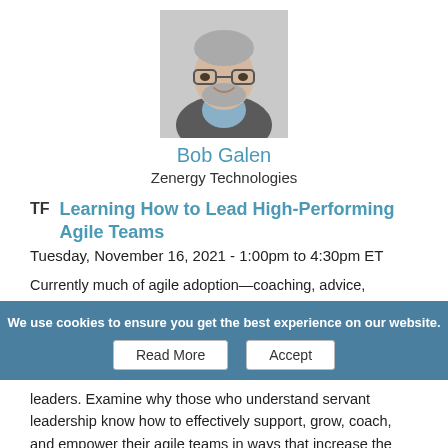[Figure (photo): Headshot photo of Bob Galen, a man with glasses and a beard wearing a dark jacket]
Bob Galen
Zenergy Technologies
TF   Learning How to Lead High-Performing Agile Teams
Tuesday, November 16, 2021 - 1:00pm to 4:30pm ET
Currently much of agile adoption—coaching, advice, techniques, training, and even the empathy—revolves around the agile teams. Leaders are typically ignored, marginalized at best, and in the worst cases even vilified. But Bob Galen and Mary Thorn contend that there is a
We use cookies to ensure you get the best experience on our website.
leaders. Examine why those who understand servant leadership know how to effectively support, grow, coach, and empower their agile teams in ways that increase the